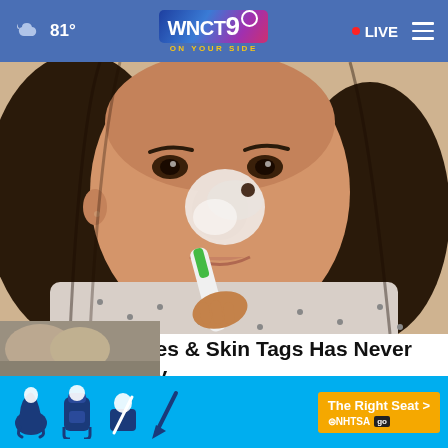81° WNCT9 ON YOUR SIDE • LIVE
[Figure (photo): Woman brushing toothpaste on her nose and face as a DIY skin treatment]
Removing Moles & Skin Tags Has Never Been This Easy
Mole & Skin Tag Removal
[Figure (infographic): NHTSA The Right Seat advertisement banner with car seat icons in blue background]